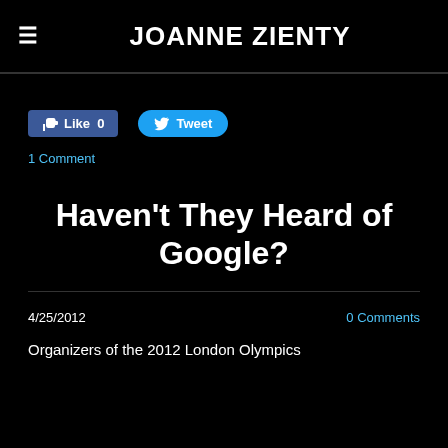JOANNE ZIENTY
[Figure (other): Facebook Like button showing 0 likes and Twitter Tweet button]
1 Comment
Haven't They Heard of Google?
4/25/2012
0 Comments
Organizers of the 2012 London Olympics